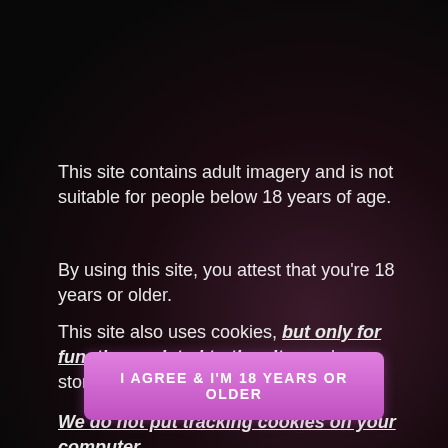This site contains adult imagery and is not suitable for people below 18 years of age.
By using this site, you attest that you're 18 years or older.
This site also uses cookies, but only for functions related to the site, such as storing sessions and user choices.
We do not put tracking cookies on your computer.
I AGREE & I'M 18 YEARS OR OLDER